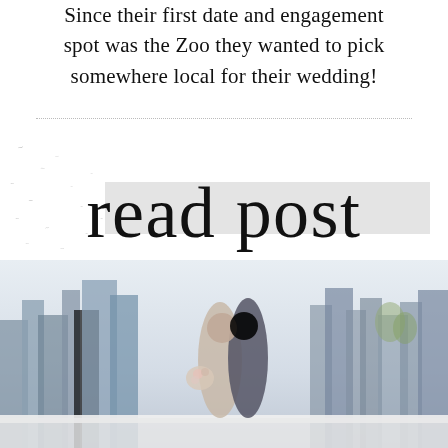Since their first date and engagement spot was the Zoo they wanted to pick somewhere local for their wedding!
[Figure (illustration): Handwritten script text 'read post' in black cursive over a light gray horizontal band, with scattered bird silhouettes on the left side]
[Figure (photo): A couple embracing and leaning foreheads together on a rooftop or elevated platform with a city skyline (tall glass buildings) visible in the background. The woman holds a floral bouquet. Soft, light-toned photo.]